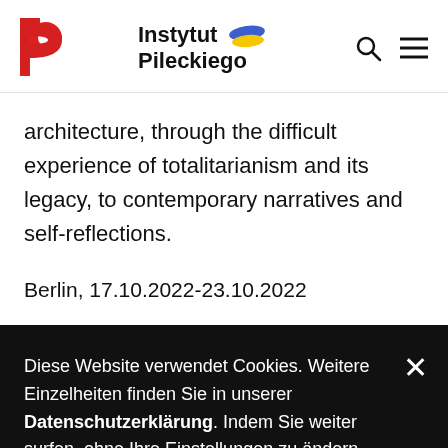[Figure (logo): Instytut Pileckiego logo with red P-shaped icon, text 'Instytut Pileckiego', and a blue-yellow Ukraine flag brushstroke]
architecture, through the difficult experience of totalitarianism and its legacy, to contemporary narratives and self-reflections.
Berlin, 17.10.2022-23.10.2022
Diese Website verwendet Cookies. Weitere Einzelheiten finden Sie in unserer Datenschutzerklärung. Indem Sie weiter surfen, ohne Ihre Einstellungen zu ändern, stimmen Sie unserer Verwendung von Cookies zu.